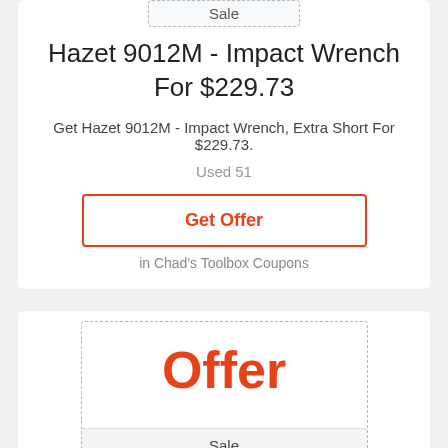[Figure (other): Sale badge dashed border box]
Hazet 9012M - Impact Wrench For $229.73
Get Hazet 9012M - Impact Wrench, Extra Short For $229.73.
Used 51
Get Offer
in Chad's Toolbox Coupons
[Figure (other): Offer badge dashed border box with Sale label]
Rate Set of 5 Second Cut Files For